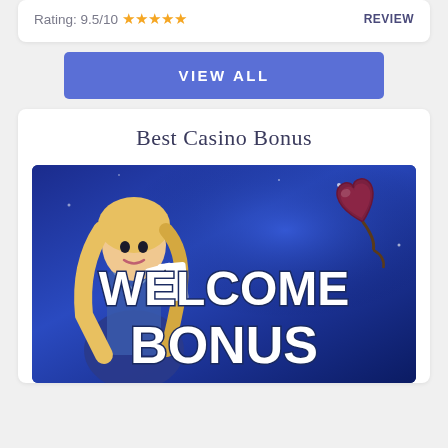Rating: 9.5/10 ★★★★★
REVIEW
VIEW ALL
Best Casino Bonus
[Figure (illustration): Welcome Bonus promotional banner with a cartoon female dealer holding playing cards, a large heart symbol in the background, and bold white text reading WELCOME BONUS on a blue gradient background]